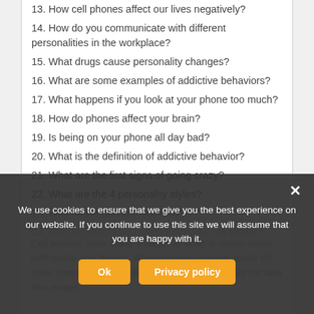13. How cell phones affect our lives negatively?
14. How do you communicate with different personalities in the workplace?
15. What drugs cause personality changes?
16. What are some examples of addictive behaviors?
17. What happens if you look at your phone too much?
18. How do phones affect your brain?
19. Is being on your phone all day bad?
20. What is the definition of addictive behavior?
21. What are the first signs of going crazy?
22. What are the 4 personality styles?
23. Why do we become addicted?
24. How far should you sleep from your cell phone?
Cell phones have made it easier to keep in closer touch with family and friends. Phones have certainly made life more convenient. Cell phones have also changed the way that people...
We use cookies to ensure that we give you the best experience on our website. If you continue to use this site we will assume that you are happy with it.